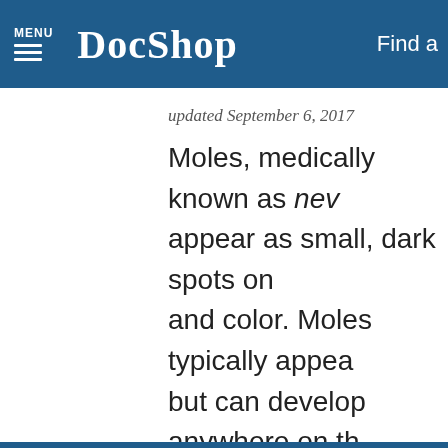MENU DocShop Find a
updated September 6, 2017
Moles, medically known as nev... appear as small, dark spots on ... and color. Moles typically appea... but can develop anywhere on th... are harmless, in rare cases they... necessitating surgical removal. ... benign moles for cosmetic reas... mole removal.